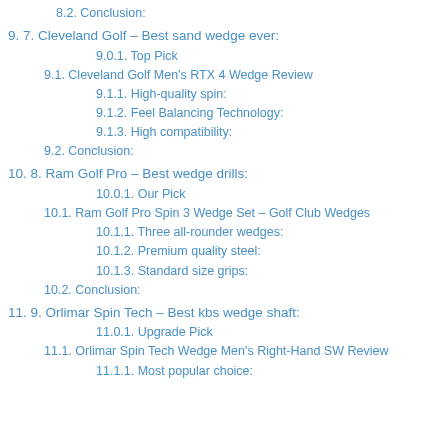8.2. Conclusion:
9. 7. Cleveland Golf – Best sand wedge ever:
9.0.1. Top Pick
9.1. Cleveland Golf Men's RTX 4 Wedge Review
9.1.1. High-quality spin:
9.1.2. Feel Balancing Technology:
9.1.3. High compatibility:
9.2. Conclusion:
10. 8. Ram Golf Pro – Best wedge drills:
10.0.1. Our Pick
10.1. Ram Golf Pro Spin 3 Wedge Set – Golf Club Wedges
10.1.1. Three all-rounder wedges:
10.1.2. Premium quality steel:
10.1.3. Standard size grips:
10.2. Conclusion:
11. 9. Orlimar Spin Tech – Best kbs wedge shaft:
11.0.1. Upgrade Pick
11.1. Orlimar Spin Tech Wedge Men's Right-Hand SW Review
11.1.1. Most popular choice: